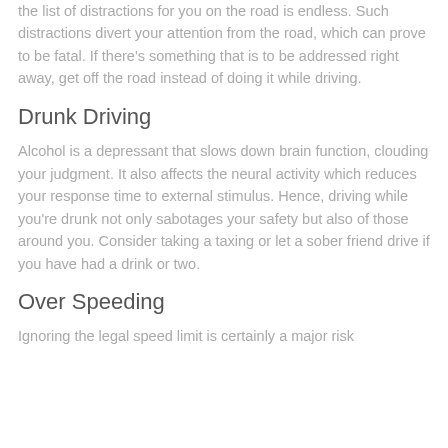the list of distractions for you on the road is endless. Such distractions divert your attention from the road, which can prove to be fatal. If there's something that is to be addressed right away, get off the road instead of doing it while driving.
Drunk Driving
Alcohol is a depressant that slows down brain function, clouding your judgment. It also affects the neural activity which reduces your response time to external stimulus. Hence, driving while you're drunk not only sabotages your safety but also of those around you. Consider taking a taxing or let a sober friend drive if you have had a drink or two.
Over Speeding
Ignoring the legal speed limit is certainly a major risk